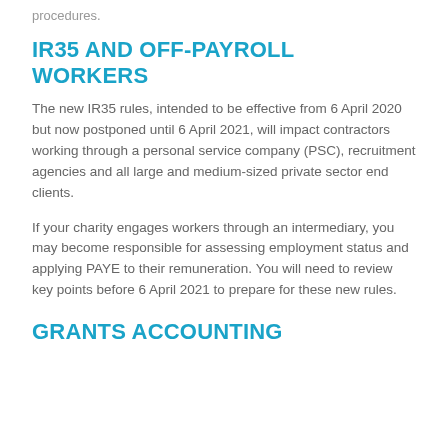procedures.
IR35 AND OFF-PAYROLL WORKERS
The new IR35 rules, intended to be effective from 6 April 2020 but now postponed until 6 April 2021, will impact contractors working through a personal service company (PSC), recruitment agencies and all large and medium-sized private sector end clients.
If your charity engages workers through an intermediary, you may become responsible for assessing employment status and applying PAYE to their remuneration. You will need to review key points before 6 April 2021 to prepare for these new rules.
GRANTS ACCOUNTING